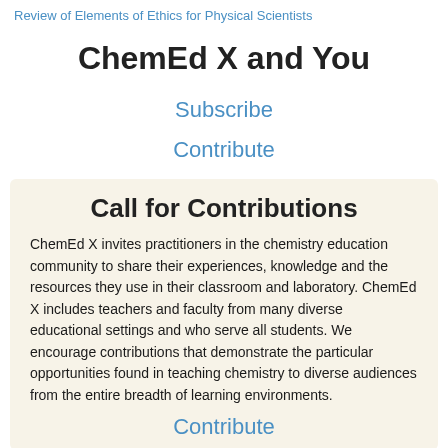Review of Elements of Ethics for Physical Scientists
ChemEd X and You
Subscribe
Contribute
Call for Contributions
ChemEd X invites practitioners in the chemistry education community to share their experiences, knowledge and the resources they use in their classroom and laboratory. ChemEd X includes teachers and faculty from many diverse educational settings and who serve all students. We encourage contributions that demonstrate the particular opportunities found in teaching chemistry to diverse audiences from the entire breadth of learning environments.
Contribute